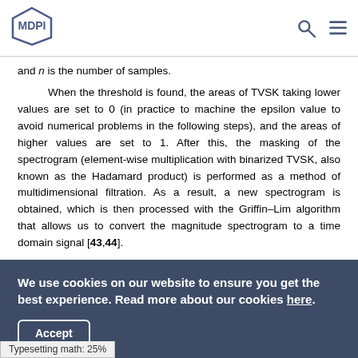MDPI
and n is the number of samples.
When the threshold is found, the areas of TVSK taking lower values are set to 0 (in practice to machine the epsilon value to avoid numerical problems in the following steps), and the areas of higher values are set to 1. After this, the masking of the spectrogram (element-wise multiplication with binarized TVSK, also known as the Hadamard product) is performed as a method of multidimensional filtration. As a result, a new spectrogram is obtained, which is then processed with the Griffin–Lim algorithm that allows us to convert the magnitude spectrogram to a time domain signal [43,44].
We use cookies on our website to ensure you get the best experience. Read more about our cookies here.
Accept
Typesetting math: 25%